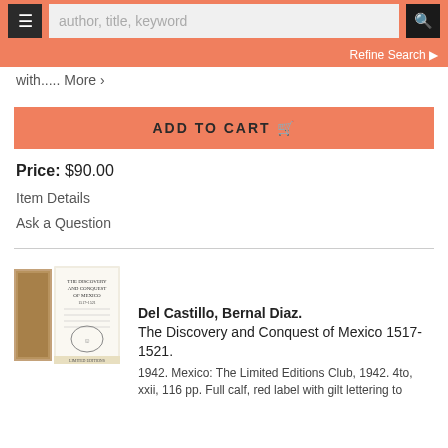author, title, keyword
with..... More ›
ADD TO CART 🛒
Price: $90.00
Item Details
Ask a Question
Del Castillo, Bernal Diaz. The Discovery and Conquest of Mexico 1517-1521. 1942. Mexico: The Limited Editions Club, 1942. 4to, xxii, 116 pp. Full calf, red label with gilt lettering to